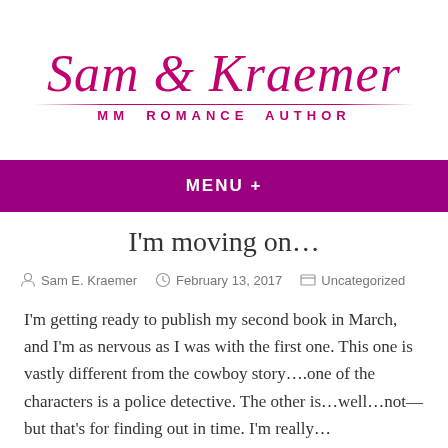[Figure (logo): Sam E. Kraemer MM Romance Author logo in cursive script style with decorative rule line]
MENU +
I'm moving on…
By Sam E. Kraemer  February 13, 2017  Uncategorized
I'm getting ready to publish my second book in March, and I'm as nervous as I was with the first one. This one is vastly different from the cowboy story….one of the characters is a police detective. The other is…well…not—but that's for finding out in time. I'm really…